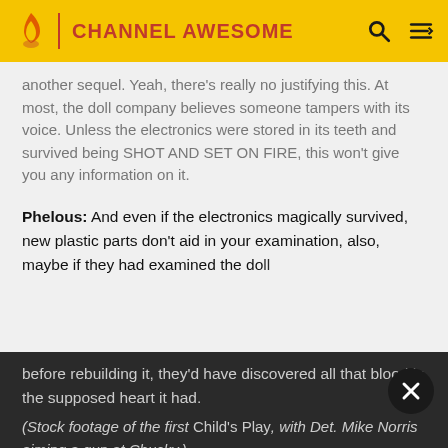CHANNEL AWESOME
another sequel. Yeah, there's really no justifying this. At most, the doll company believes someone tampers with its voice. Unless the electronics were stored in its teeth and survived being SHOT AND SET ON FIRE, this won't give you any information on it.
Phelous: And even if the electronics magically survived, new plastic parts don't aid in your examination, also, maybe if they had examined the doll before rebuilding it, they'd have discovered all that blood in the supposed heart it had.
(Stock footage of the first Child's Play, with Det. Mike Norris aiming a gun at Chucky.)